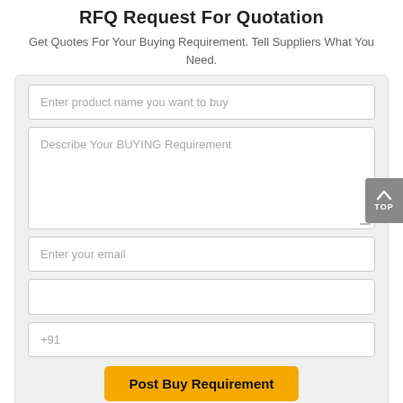RFQ Request For Quotation
Get Quotes For Your Buying Requirement. Tell Suppliers What You Need.
[Figure (screenshot): Web form with fields: product name input, buying requirement textarea, email input, blank field, phone (+91) input, and a yellow 'Post Buy Requirement' button. A gray 'TOP' scroll button appears on the right side.]